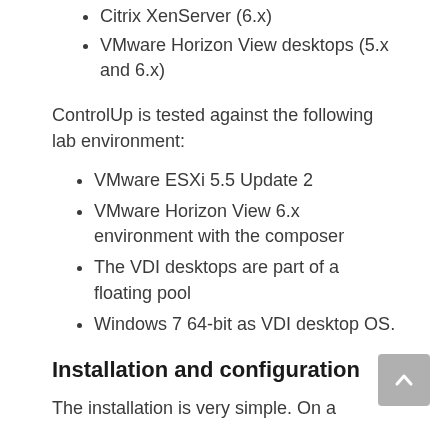Citrix XenServer (6.x)
VMware Horizon View desktops (5.x and 6.x)
ControlUp is tested against the following lab environment:
VMware ESXi 5.5 Update 2
VMware Horizon View 6.x environment with the composer
The VDI desktops are part of a floating pool
Windows 7 64-bit as VDI desktop OS.
Installation and configuration
The installation is very simple. On a